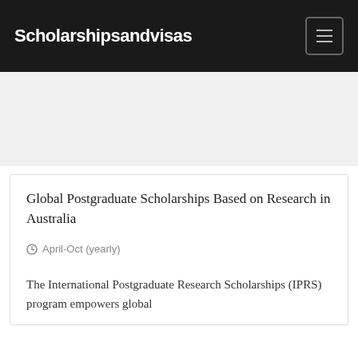Scholarshipsandvisas
Global Postgraduate Scholarships Based on Research in Australia
April-Oct (yearly)
The International Postgraduate Research Scholarships (IPRS) program empowers global